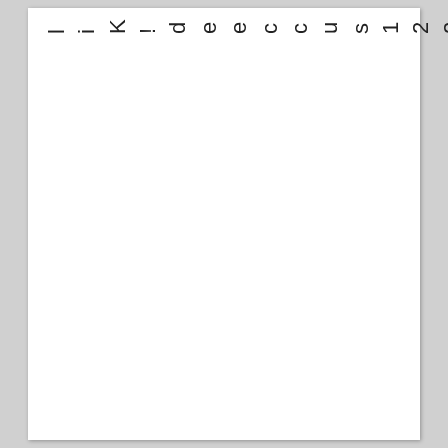, let you H12-221 succeeded! Kil